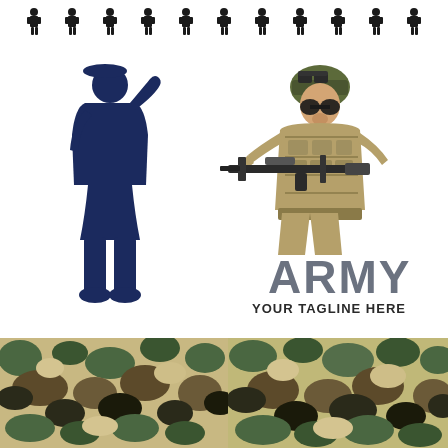[Figure (illustration): Row of small black military soldier silhouette icons along the top]
[Figure (illustration): Dark navy blue silhouette of a female soldier saluting, standing at attention]
[Figure (illustration): Illustrated soldier in tan/khaki military gear and helmet holding a rifle, with text ARMY and YOUR TAGLINE HERE below]
[Figure (illustration): Two camouflage pattern texture blocks in woodland green/brown camo at the bottom of the page, side by side]